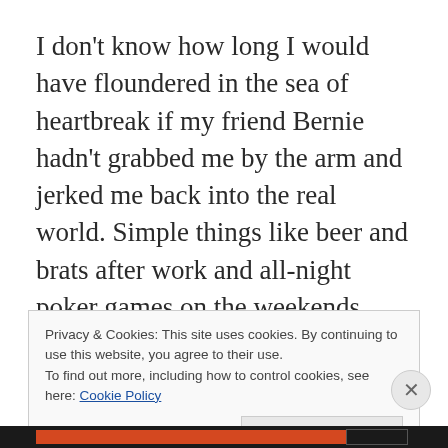I don't know how long I would have floundered in the sea of heartbreak if my friend Bernie hadn't grabbed me by the arm and jerked me back into the real world. Simple things like beer and brats after work and all-night poker games on the weekends helped fill my lonely hours. Bernie even tried to rush the healing process by fixing me up with his cousin for a double-date twilight double-header. She was
Privacy & Cookies: This site uses cookies. By continuing to use this website, you agree to their use.
To find out more, including how to control cookies, see here: Cookie Policy